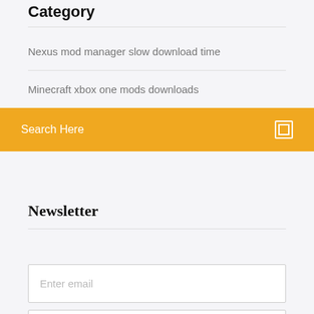Category
Nexus mod manager slow download time
Minecraft xbox one mods downloads
Search Here
Newsletter
Enter email